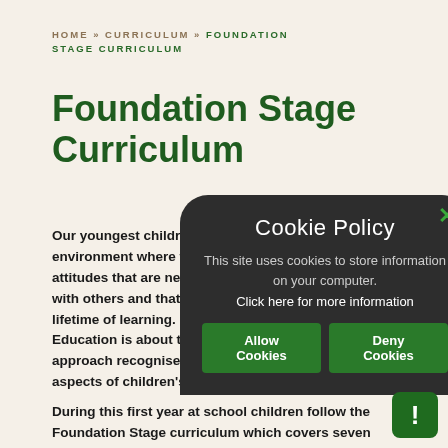HOME » CURRICULUM » FOUNDATION STAGE CURRICULUM
Foundation Stage Curriculum
Our youngest children are welcomed into an environment where they begin to learn the skills and attitudes that are necessary to live harmoniously with others and that they will use throughout a lifetime of learning.
Education is about the whole child and a holistic approach recognises the link between different aspects of children's development.
During this first year at school children follow the Foundation Stage curriculum which covers seven areas of l...
[Figure (other): Cookie Policy modal overlay with dark rounded background, showing title 'Cookie Policy', text 'This site uses cookies to store information on your computer. Click here for more information', and two green buttons: 'Allow Cookies' and 'Deny Cookies'. A green X close button appears at top right of the modal.]